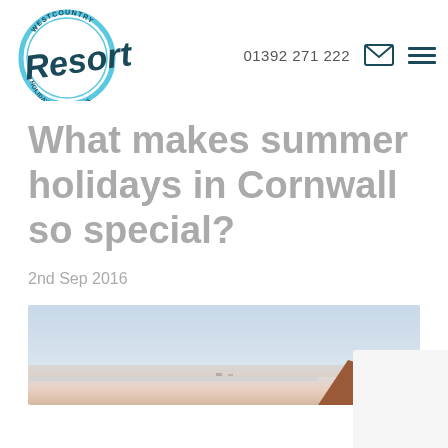Westcountry Resorts — 01392 271 222
What makes summer holidays in Cornwall so special?
2nd Sep 2016
[Figure (photo): Coastal landscape photo showing sky gradient from light blue to peach/pink at horizon, with reddish-brown rocky cliff on the right edge]